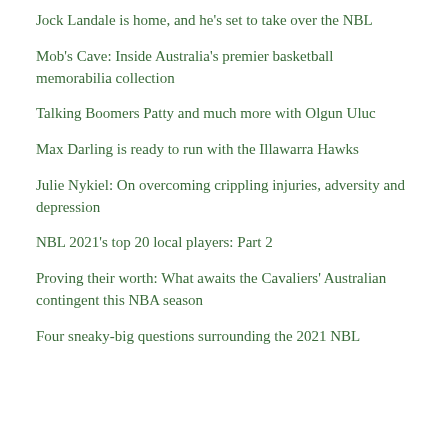Jock Landale is home, and he's set to take over the NBL
Mob's Cave: Inside Australia's premier basketball memorabilia collection
Talking Boomers Patty and much more with Olgun Uluc
Max Darling is ready to run with the Illawarra Hawks
Julie Nykiel: On overcoming crippling injuries, adversity and depression
NBL 2021's top 20 local players: Part 2
Proving their worth: What awaits the Cavaliers' Australian contingent this NBA season
Four sneaky-big questions surrounding the 2021 NBL season ahead it